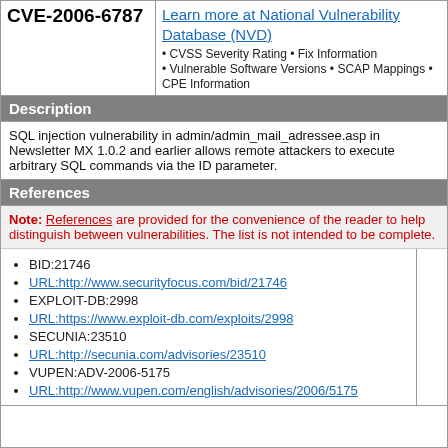CVE-2006-6787
Learn more at National Vulnerability Database (NVD) • CVSS Severity Rating • Fix Information • Vulnerable Software Versions • SCAP Mappings • CPE Information
Description
SQL injection vulnerability in admin/admin_mail_adressee.asp in Newsletter MX 1.0.2 and earlier allows remote attackers to execute arbitrary SQL commands via the ID parameter.
References
Note: References are provided for the convenience of the reader to help distinguish between vulnerabilities. The list is not intended to be complete.
BID:21746
URL:http://www.securityfocus.com/bid/21746
EXPLOIT-DB:2998
URL:https://www.exploit-db.com/exploits/2998
SECUNIA:23510
URL:http://secunia.com/advisories/23510
VUPEN:ADV-2006-5175
URL:http://www.vupen.com/english/advisories/2006/5175